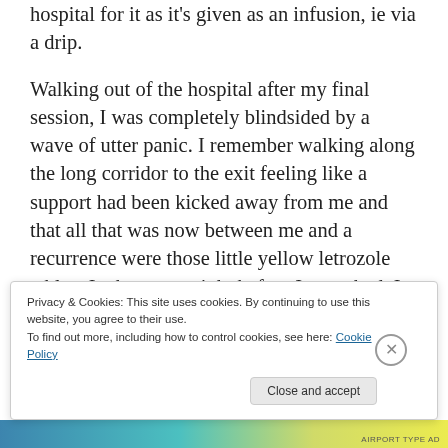hospital for it as it's given as an infusion, ie via a drip.
Walking out of the hospital after my final session, I was completely blindsided by a wave of utter panic. I remember walking along the long corridor to the exit feeling like a support had been kicked away from me and that all that was now between me and a recurrence were those little yellow letrozole tablets I take every night before I go to bed. I was, literally, panic-stricken, but I knew what to do. I know it
Privacy & Cookies: This site uses cookies. By continuing to use this website, you agree to their use.
To find out more, including how to control cookies, see here: Cookie Policy